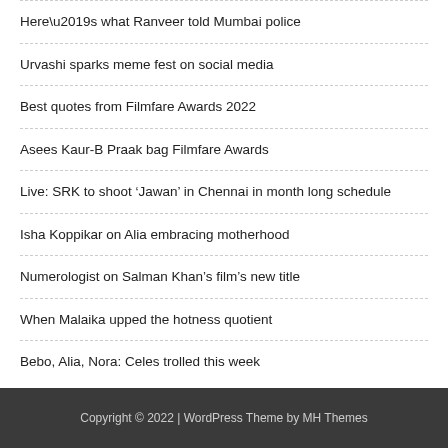Here’s what Ranveer told Mumbai police
Urvashi sparks meme fest on social media
Best quotes from Filmfare Awards 2022
Asees Kaur-B Praak bag Filmfare Awards
Live: SRK to shoot ‘Jawan’ in Chennai in month long schedule
Isha Koppikar on Alia embracing motherhood
Numerologist on Salman Khan’s film’s new title
When Malaika upped the hotness quotient
Bebo, Alia, Nora: Celes trolled this week
Copyright © 2022 | WordPress Theme by MH Themes